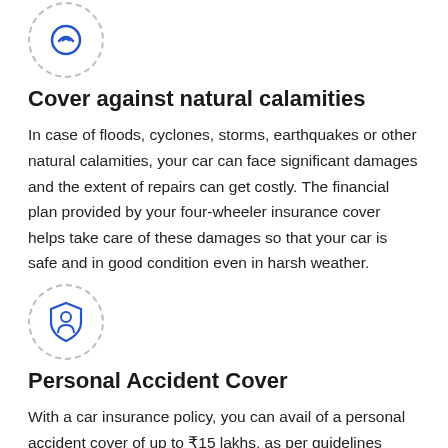[Figure (illustration): Dashed circle icon at top of page, partially visible]
Cover against natural calamities
In case of floods, cyclones, storms, earthquakes or other natural calamities, your car can face significant damages and the extent of repairs can get costly. The financial plan provided by your four-wheeler insurance cover helps take care of these damages so that your car is safe and in good condition even in harsh weather.
[Figure (illustration): Dashed circle with blue shield/person icon inside]
Personal Accident Cover
With a car insurance policy, you can avail of a personal accident cover of up to ₹15 lakhs, as per guidelines issued by the Insurance Regulatory and Development Authority of India, in the event of bodily injuries, disability or even death of the policyholder or the owner-driver of the vehicle.